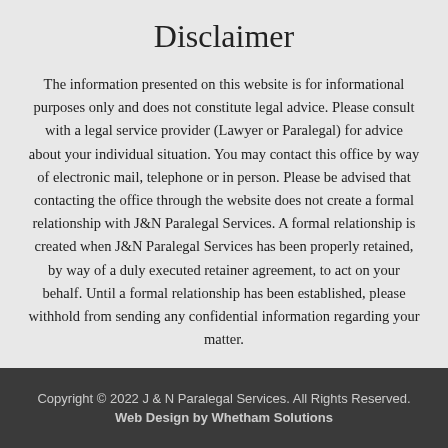Disclaimer
The information presented on this website is for informational purposes only and does not constitute legal advice. Please consult with a legal service provider (Lawyer or Paralegal) for advice about your individual situation. You may contact this office by way of electronic mail, telephone or in person. Please be advised that contacting the office through the website does not create a formal relationship with J&N Paralegal Services. A formal relationship is created when J&N Paralegal Services has been properly retained, by way of a duly executed retainer agreement, to act on your behalf. Until a formal relationship has been established, please withhold from sending any confidential information regarding your matter.
Copyright © 2022 J & N Paralegal Services. All Rights Reserved. Web Design by Whetham Solutions